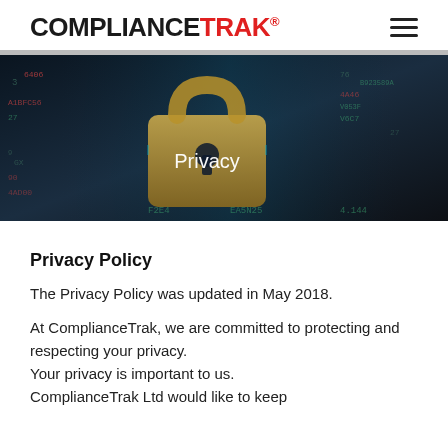COMPLIANCETRAK®
[Figure (photo): Dark cybersecurity-themed hero image showing a gold padlock on a digital background with hexadecimal code and data. Text 'Privacy' overlaid in white center.]
Privacy Policy
The Privacy Policy was updated in May 2018.
At ComplianceTrak, we are committed to protecting and respecting your privacy.
Your privacy is important to us.
ComplianceTrak Ltd would like to keep